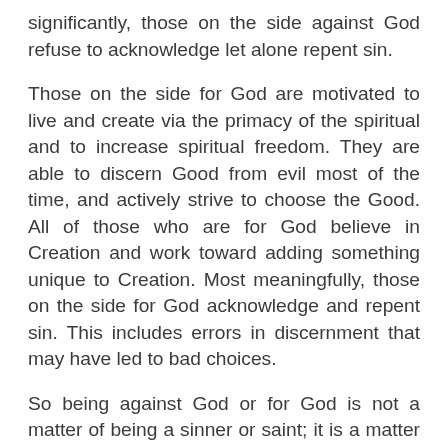significantly, those on the side against God refuse to acknowledge let alone repent sin.
Those on the side for God are motivated to live and create via the primacy of the spiritual and to increase spiritual freedom. They are able to discern Good from evil most of the time, and actively strive to choose the Good. All of those who are for God believe in Creation and work toward adding something unique to Creation. Most meaningfully, those on the side for God acknowledge and repent sin. This includes errors in discernment that may have led to bad choices.
So being against God or for God is not a matter of being a sinner or saint; it is a matter of the heart - of where the heart is oriented - of what the heart believes and thinks.